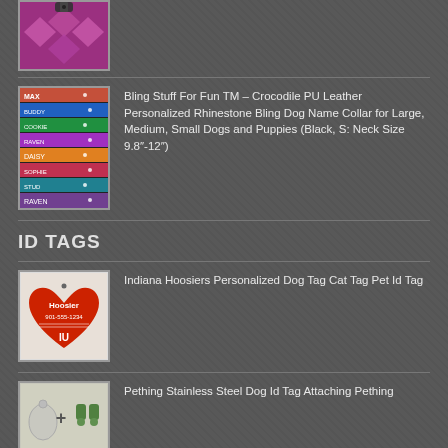[Figure (photo): Dog collar with pink/purple diamond pattern]
[Figure (photo): Stack of colorful rhinestone bling dog name collars]
Bling Stuff For Fun TM – Crocodile PU Leather Personalized Rhinestone Bling Dog Name Collar for Large, Medium, Small Dogs and Puppies (Black, S: Neck Size 9.8″-12″)
ID TAGS
[Figure (photo): Red heart-shaped Indiana Hoosiers personalized dog tag showing 'Hoosier 901-555-1234']
Indiana Hoosiers Personalized Dog Tag Cat Tag Pet Id Tag
[Figure (photo): Stainless steel dog id tag with attaching tool and accessories]
Pething Stainless Steel Dog Id Tag Attaching Pething